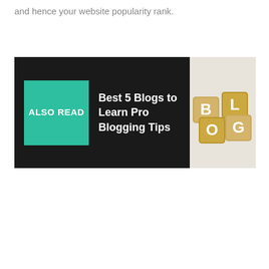and hence your website popularity rank.
[Figure (infographic): An 'Also Read' banner with a teal green label box reading 'ALSO READ' on a black background, followed by the text 'Best 5 Blogs to Learn Pro Blogging Tips' in white on black, and on the right side a photo of wooden scrabble-like tiles spelling out 'BLOG' on a light background.]